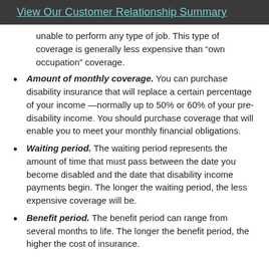View Our Customer Relationship Summary
unable to perform any type of job. This type of coverage is generally less expensive than “own occupation” coverage.
Amount of monthly coverage. You can purchase disability insurance that will replace a certain percentage of your income —normally up to 50% or 60% of your pre-disability income. You should purchase coverage that will enable you to meet your monthly financial obligations.
Waiting period. The waiting period represents the amount of time that must pass between the date you become disabled and the date that disability income payments begin. The longer the waiting period, the less expensive coverage will be.
Benefit period. The benefit period can range from several months to life. The longer the benefit period, the higher the cost of insurance.